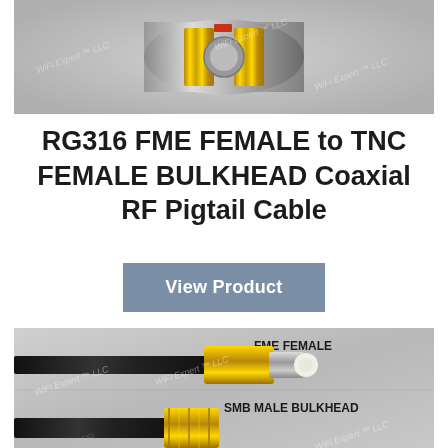[Figure (photo): Close-up photo of a TNC female bulkhead connector, gold and silver metallic finish, with WiFi Expert LLC watermark]
RG316 FME FEMALE to TNC FEMALE BULKHEAD Coaxial RF Pigtail Cable
View Product
[Figure (photo): Close-up photo showing FME FEMALE connector (top, labeled) and SMB MALE BULKHEAD connector (bottom, labeled), with WiFi Expert LLC watermark. Gold and silver metallic connectors on black cable.]